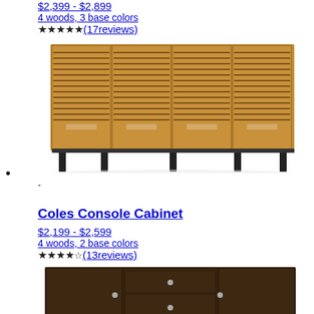$2,399 - $2,899
4 woods, 3 base colors
★★★★★(17reviews)
[Figure (photo): Wooden sideboard cabinet with slatted doors and black metal legs]
•
-
Coles Console Cabinet
$2,199 - $2,599
4 woods, 2 base colors
★★★★½(13reviews)
[Figure (photo): Dark wood console cabinet with drawers and silver legs]